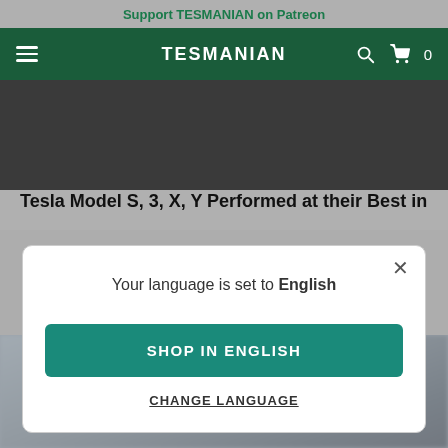Support TESMANIAN on Patreon
TESMANIAN
[Figure (screenshot): Dark blurred top image area of the TESMANIAN website]
Tesla Model S, 3, X, Y Performed at their Best in
Your language is set to English
SHOP IN ENGLISH
CHANGE LANGUAGE
[Figure (photo): Blurred background photo of a Tesla vehicle in a snowy or outdoor setting]